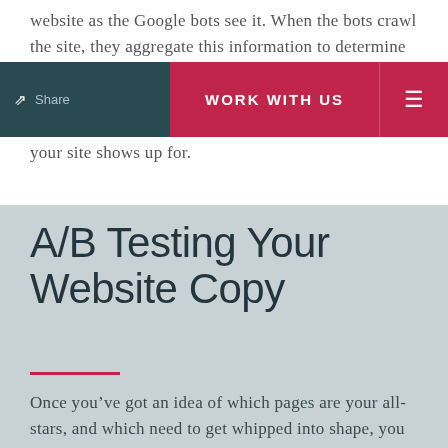website as the Google bots see it. When the bots crawl the site, they aggregate this information to determine the search rankings. So when you use GSC, you are able to see which pages on your site are doing the most work, which need a tune-up, and what queries your site shows up for.
WORK WITH US
A/B Testing Your Website Copy
Once you've got an idea of which pages are your all-stars, and which need to get whipped into shape, you can start testing your copy. A website is not a billboard,